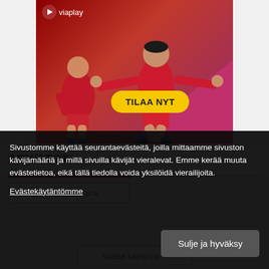[Figure (screenshot): Viaplay streaming service advertisement showing football players in red Liverpool FC jerseys celebrating a goal, with a yellow 'TILAA NYT' (Subscribe Now) call-to-action button and a pink/magenta triangle in the bottom right corner.]
ARKISTOT
Valitse hakusana
Sivustomme käyttää seurantaevästeitä, joilla mittaamme sivuston kävijämääriä ja millä sivuilla kävijät vieralevat. Emme kerää muuta evästetietoa, eikä tällä tiedolla voida yksilöidä vierailijoita.
Evästekäytäntömme
Sulje ja hyväksy
Valitse kategoria ▾